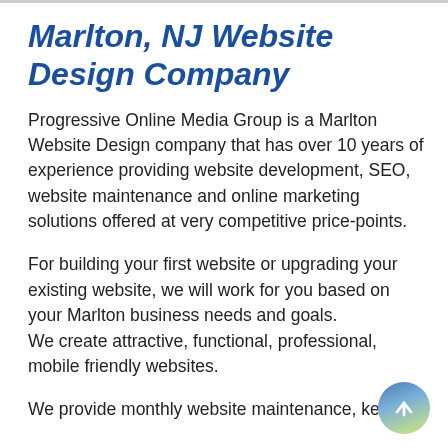Marlton, NJ Website Design Company
Progressive Online Media Group is a Marlton Website Design company that has over 10 years of experience providing website development, SEO, website maintenance and online marketing solutions offered at very competitive price-points.
For building your first website or upgrading your existing website, we will work for you based on your Marlton business needs and goals.
We create attractive, functional, professional, mobile friendly websites.
We provide monthly website maintenance, keeping